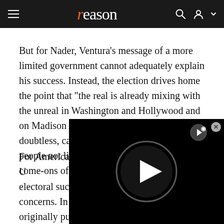reason
But for Nader, Ventura’s message of a more limited government cannot adequately explain his success. Instead, the election drives home the point that "the real is already mixing with the unreal in Washington and Hollywood and on Madison Avenue"--a situation which, doubtless, can be sorted out only by those few people not likely to be taken in by the “slick come-ons of” rough-hewn, no-nonse…
For American U… electoral success… concerns. In a w… originally publis… bemoaned the “thoughtless” application of the term
[Figure (screenshot): Black video player overlay with large circular play button in center and small play button icon in upper right corner, with close (x) button]